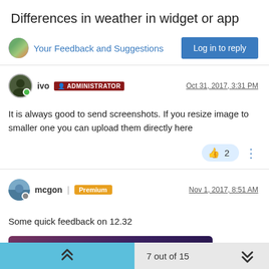Differences in weather in widget or app
Your Feedback and Suggestions
Log in to reply
ivo  ADMINISTRATOR   Oct 31, 2017, 3:31 PM
It is always good to send screenshots. If you resize image to smaller one you can upload them directly here
2
mcgon | Premium   Nov 1, 2017, 8:51 AM
Some quick feedback on 12.32
[Figure (screenshot): Screenshot of a weather widget showing 'Tallaght-Fettercairn ED' with a dark overlay and refresh icon, on a purple/dark background]
7 out of 15